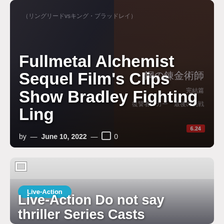Fullmetal Alchemist Sequel Film's Clips Show Bradley Fighting Ling
by — June 10, 2022 — 0
[Figure (photo): Dark movie promotional image with Japanese text overlay for Fullmetal Alchemist live-action film]
[Figure (photo): Second article card with broken image placeholder and gradient background]
Live-Action
Live-Action Do not say thriller Series Casts